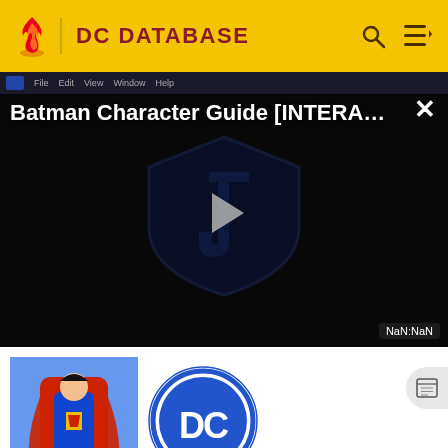DC DATABASE
[Figure (screenshot): Batman Character Guide [INTERA...] video player with DC Justice League shield logo and play button, showing NaN:NaN timer]
[Figure (illustration): Superman comic book cover art thumbnail image]
[Figure (logo): DC Comics circular logo in blue and white]
Superman Family member
This character is or was an incarnation of or an ally of